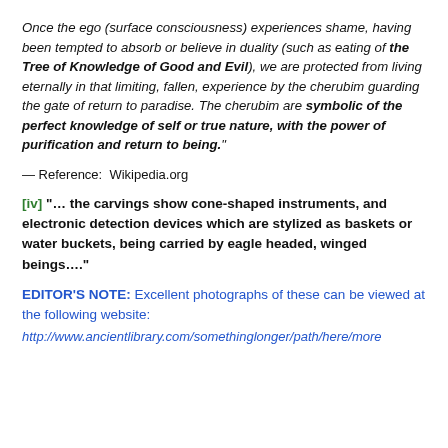Once the ego (surface consciousness) experiences shame, having been tempted to absorb or believe in duality (such as eating of the Tree of Knowledge of Good and Evil), we are protected from living eternally in that limiting, fallen, experience by the cherubim guarding the gate of return to paradise. The cherubim are symbolic of the perfect knowledge of self or true nature, with the power of purification and return to being."
— Reference:  Wikipedia.org
[iv] "... the carvings show cone-shaped instruments, and electronic detection devices which are stylized as baskets or water buckets, being carried by eagle headed, winged beings...."
EDITOR'S NOTE: Excellent photographs of these can be viewed at the following website:
http://www.ancientlibrary.com/or-similar-website-url